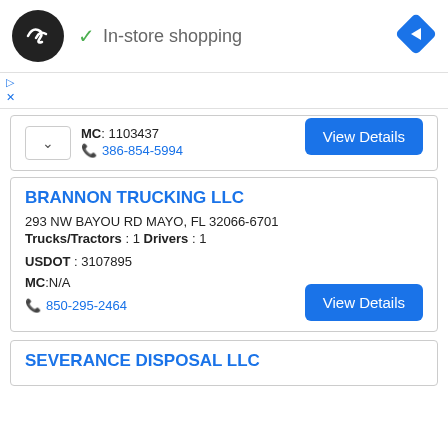In-store shopping
MC : 1103437
386-854-5994
View Details
BRANNON TRUCKING LLC
293 NW BAYOU RD MAYO, FL 32066-6701
Trucks/Tractors : 1 Drivers : 1
USDOT : 3107895
MC :N/A
850-295-2464
View Details
SEVERANCE DISPOSAL LLC